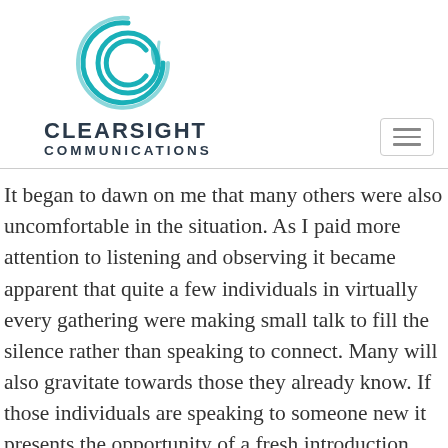[Figure (logo): Clearsight Communications logo: teal/cyan circular icon with letter C and concentric arc lines, above bold dark text CLEARSIGHT COMMUNICATIONS]
It began to dawn on me that many others were also uncomfortable in the situation. As I paid more attention to listening and observing it became apparent that quite a few individuals in virtually every gathering were making small talk to fill the silence rather than speaking to connect. Many will also gravitate towards those they already know. If those individuals are speaking to someone new it presents the opportunity of a fresh introduction. Otherwise why not introduce yourself to someone you haven't met and learn about them? You may be able to help them directly or indirectly which will benefit them and make you look good.